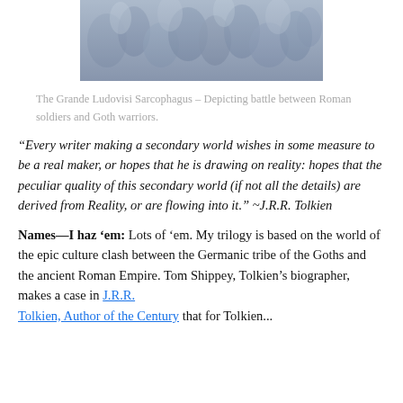[Figure (photo): A stone relief carving depicting a battle between Roman soldiers and Goth warriors — the Grande Ludovisi Sarcophagus.]
The Grande Ludovisi Sarcophagus – Depicting battle between Roman soldiers and Goth warriors.
“Every writer making a secondary world wishes in some measure to be a real maker, or hopes that he is drawing on reality: hopes that the peculiar quality of this secondary world (if not all the details) are derived from Reality, or are flowing into it.” ~J.R.R. Tolkien
Names—I haz ‘em: Lots of ‘em. My trilogy is based on the world of the epic culture clash between the Germanic tribe of the Goths and the ancient Roman Empire. Tom Shippey, Tolkien’s biographer, makes a case in J.R.R. Tolkien, Author of the Century that for Tolkien...